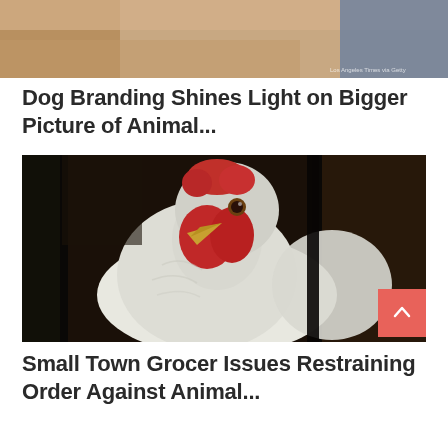[Figure (photo): Partial view of an animal (dog) with a hand visible, blurred/cropped. Small watermark text in bottom right corner.]
Dog Branding Shines Light on Bigger Picture of Animal...
[Figure (photo): Close-up photo of a white chicken/rooster with red comb and wattles, facing forward, dark background with bars visible. A red scroll-to-top button with upward chevron overlays the bottom right.]
Small Town Grocer Issues Restraining Order Against Animal...